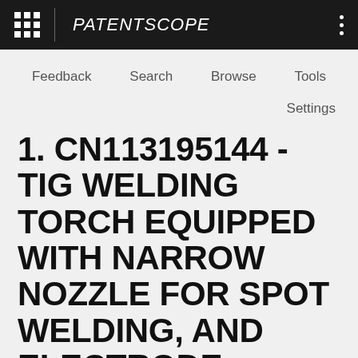PATENTSCOPE
Feedback   Search   Browse   Tools
Settings
1. CN113195144 - TIG WELDING TORCH EQUIPPED WITH NARROW NOZZLE FOR SPOT WELDING, AND ELECTRODE NOZZLE USED IN SAME